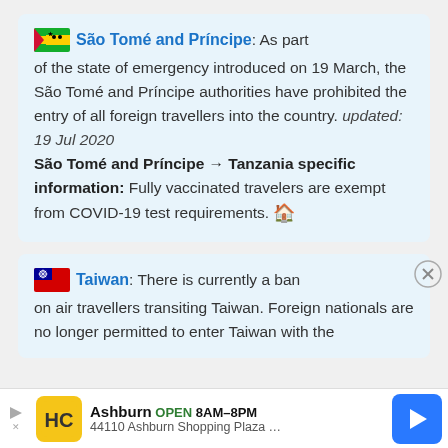São Tomé and Príncipe: As part of the state of emergency introduced on 19 March, the São Tomé and Príncipe authorities have prohibited the entry of all foreign travellers into the country. updated: 19 Jul 2020 São Tomé and Príncipe → Tanzania specific information: Fully vaccinated travelers are exempt from COVID-19 test requirements.
Taiwan: There is currently a ban on air travellers transiting Taiwan. Foreign nationals are no longer permitted to enter Taiwan with the
[Figure (other): Advertisement bar: HC logo, Ashburn OPEN 8AM-8PM, 44110 Ashburn Shopping Plaza ..., blue navigation arrow icon]